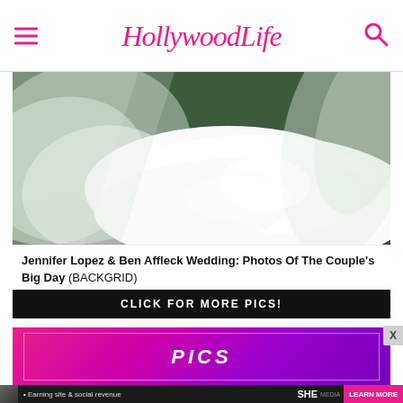HollywoodLife
[Figure (photo): Close-up aerial/overhead photo of a white wedding dress with a long flowing veil and train spread out on green grass]
Jennifer Lopez & Ben Affleck Wedding: Photos Of The Couple's Big Day (BACKGRID)
CLICK FOR MORE PICS!
[Figure (infographic): Pink/purple gradient promotional card with inner border and PICS text]
[Figure (infographic): Bottom advertisement banner: SHE Media PARTNER NETWORK - Earning site & social revenue - BECOME A MEMBER - LEARN MORE]